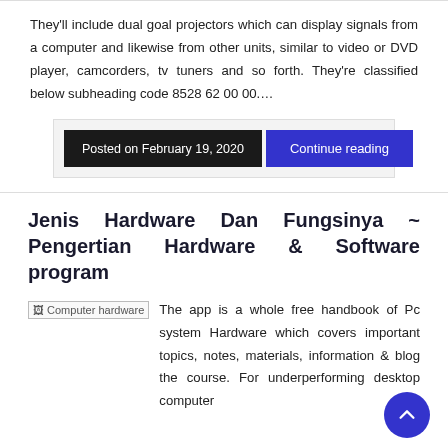They'll include dual goal projectors which can display signals from a computer and likewise from other units, similar to video or DVD player, camcorders, tv tuners and so forth. They're classified below subheading code 8528 62 00 00.…
Posted on February 19, 2020
Continue reading
Jenis Hardware Dan Fungsinya ~ Pengertian Hardware & Software program
[Figure (photo): Computer hardware image placeholder/broken image icon]
The app is a whole free handbook of Pc system Hardware which covers important topics, notes, materials, information & blog the course. For underperforming desktop computer